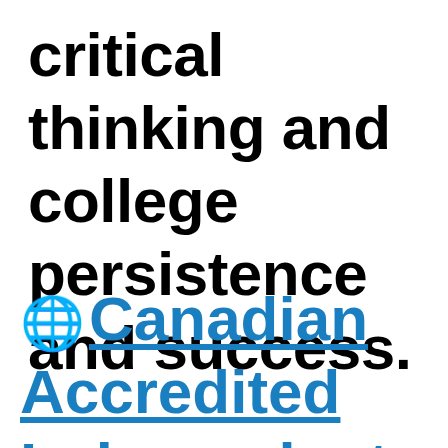critical thinking and college persistence and success.
🌐 Canadian Accredited Independent Schools (CAIS)